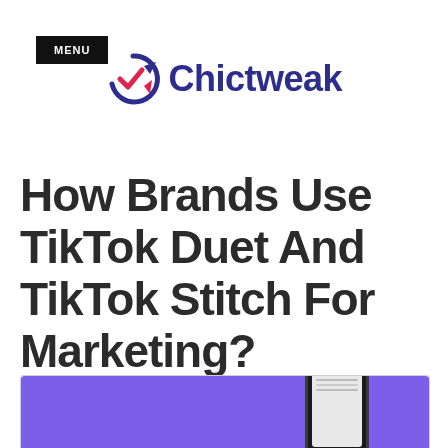MENU
[Figure (logo): Chictweak logo with a circular arrow/checkmark icon in red and blue, followed by the text 'Chictweak' in dark blue bold font]
How Brands Use TikTok Duet And TikTok Stitch For Marketing?
[Figure (photo): Purple/violet background with a smartphone displaying the TikTok app interface, partially visible at the bottom of the page]